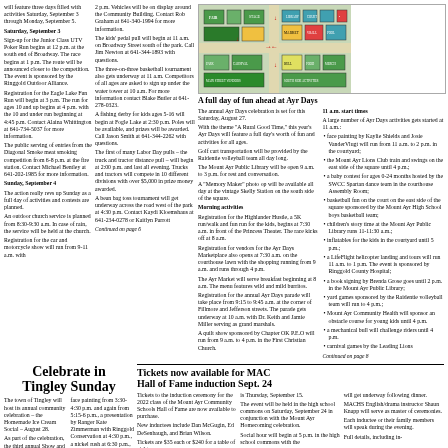will feature three days filled with activities Saturday, September 3 through Monday, September 5.
Saturday, September 3
Sign-up for the Junior Class UTV Poker Run begins at 12 p.m. at the south end of Broadway. The race begins at 1 p.m. The route will be announced closer to the competition. The event is sponsored by the Ringgold Outdoor Alliance.
Registration for the Eagle Lake Fun Run will begin at 3 p.m. The run for ages 10 and up begins at 4 p.m. with the 10 and under run beginning at 4:45 p.m. Contact Alaina Whittington at 641-734-5037 for more information.
The public serving of entries from the Diagonal Smoke meat smoking competition from 6-8 p.m. at the fire station. Contact Michael Bentley at 641-202-1985 for more information.
Sunday, September 4
The action really revs up Sunday as a full day of activities and contests are planned.
An outdoor church service is planned from 8:30-9:30 a.m. In case of rain, the service will be held at the church.
Registration for the car and motorcycle show will run from 9-11 a.m. with
2 p.m. Vehicles will be on display around the Community Building. Contact Rob Graham at 641-340-1994 for more information.
The kids' pedal pull will begin at 11 a.m. on Broadway Street south of the park. Call Jim Newton at 641-344-1893 with questions.
The three-on-three basketball tournament also gets underway at 11 a.m. Competitors of all ages are asked to sign up under the water tower at 10 a.m. For more information contact Blake Butler at 641-278-0323.
A fishing derby for kids ages 5-16 will begin at Fogle Lake at 2:30 p.m. Poles will be available, and prizes will be awarded. Call Jason Smith at 641-344-2262 with questions.
The first of many Labor Day pulls – the truck and tractor distance pull – will begin at 2:00 p.m. and last all evening. Trucks and tractors will compete in 10 different divisions with over $5,000 in prize money awarded.
A bean bag toss tournament will get underway across the road west of the park at 4:30 p.m. Contact Kaydi Kloemshaus at 641-234-0278 or Kaitlyn Parrott
[Figure (map): Aerial map/diagram of Ayr Days festival grounds showing layout of buildings, parking areas, and event spaces color-coded in green, yellow, red, and teal.]
A full day of fun ahead at Ayr Days
The annual Ayr Days celebration is set for this Saturday, August 27.
With the theme "A Rural Good Time," this year's Ayr Days will feature a full day's worth of fun and activities for all ages.
Golf cart transportation will be provided by the Raidentie volleyball team all day long.
The Mount Ayr Public Library will be open 9 a.m. to 3 p.m. for rest and conversation.
A "Memory Maker" photo op will be available all day at the vintage Skelly Station on the south side of the square.
Morning activities
Registration for the Highlander Hustle, a 5K run/walk and fun run for the kids, begins at 7:30 a.m. in front of the Princess Theater. The race kicks off at 8 a.m.
Registration for vendors for the Ayr Days Marketplace also opens at 7:30 a.m. on the courthouse lawn with the shopping running from 9 a.m. and runs through 4 p.m.
The Ayr Market will serve breakfast beginning at 8 a.m. The menu features wild and mild burritos.
Registration for the annual Ayr Days parade will take place from 9:15 to 9:45 a.m. at the corner of Fillmore and Jefferson streets. The parade gets underway at 10 a.m. with Dr. Keith and Jamie Miller serving as grand marshals.
A quilt show sponsored by Chapter OK P.E.O will run from 9 a.m. to 4 p.m. in the First Christian Church.
11 a.m. start times
A large number of Ayr Days activities gets started at 11 a.m.: • face painting by Kaylie Shields and Josie VanderVlugt will run from 11 a.m. to 2 p.m. in the courtyard; • the Mount Ayr Lions Club train and swings on the east side of the square until 4 p.m.; • a baby contest for ages 0-24 months hosted by the SWCC Spartan dance team in the courthouse Assembly Room; • basketball fun on the court on the east side of the square sponsored by the Mount Ayr High School boys basketball team; • children's story time at the Mount Ayr Public Library runs 11-11:30 a.m.; • inflatables for the kids in the courtyard until 5 p.m.; • a LifeFlight helicopter landing and tours will run 11 a.m. to 1 p.m. The event is sponsored by Ringgold County Hospital; • a book signing by Brenda Grose goes until 2 p.m. in the Mount Ayr Public Library; • yard games sponsored by the Raidentie volleyball team will run to 4 p.m.; • Mount Ayr Community Health will sponsor an obstacle course for young kids until 4 p.m. • a mechanical bull will challenge riders until 4 p.m. • carnival games by the Leading Lions
Celebrate in Tingley Sunday
The town of Tingley will host its annual community celebration – the Homemade Ice Cream Social – August 28.
As part of the celebration, the third annual Show and Shine car show will line up along Main Street near Memorial Park from 1-6 p.m.
The show will feature cars, antique cars, tractors, motorcycles, pick-ups, semi cabs and more. All vehicles are welcome.
Roger Burger will provide music for the car show from 1-3 p.m.
The Briggs Family Band
face painting from 3:30-4:30 p.m. and again from 5:15-6 p.m., a presentation by Ranger Kate Zimmerman with Ringgold Conservation at 4:30 p.m., a nickel rush at 6:30 p.m., fire truck rides from 3:30-6:00 p.m. and a kids raffle at 6:45 p.m.
The Ringgold County Cattlemen will serve hamburgers and a drink beginning at 4:30 p.m. A free will offering will be accepted.
Public serving from the Hoover Angus Homemade Ice Cream contest and the Jenny Tall pie contest will begin at 3:00 p.m. Each com-
Tickets now available for MAC Hall of Fame induction Sept. 24
Tickets to the induction ceremony for the 2022 class of the Mount Ayr Community Schools Hall of Fame are now available to purchase.
New inductees include Dan McGugin, Ed DeSenbaugh, and Brian Wilson.
Tickets are $35 each or $240 for a table of eight.
is Thursday, September 15.
The event will be held in the high school commons on Saturday, September 24 in conjunction with the Mount Ayr Homecoming celebration.
Social hour will begin at 5 p.m. in the high school commons with the
will get underway following dinner.
MACHS English/drama instructor Shaun Knapp will serve as master of ceremonies.
Each inductee or their family members will speak during the evening.
Full details, including in-